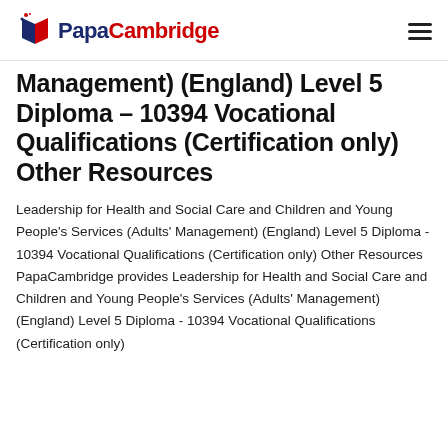PapaCambridge
Management) (England) Level 5 Diploma – 10394 Vocational Qualifications (Certification only) Other Resources
Leadership for Health and Social Care and Children and Young People's Services (Adults' Management) (England) Level 5 Diploma - 10394 Vocational Qualifications (Certification only) Other Resources PapaCambridge provides Leadership for Health and Social Care and Children and Young People's Services (Adults' Management) (England) Level 5 Diploma - 10394 Vocational Qualifications (Certification only)